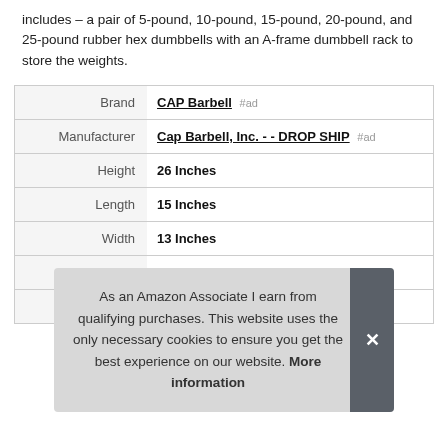includes – a pair of 5-pound, 10-pound, 15-pound, 20-pound, and 25-pound rubber hex dumbbells with an A-frame dumbbell rack to store the weights.
| Label | Value |
| --- | --- |
| Brand | CAP Barbell #ad |
| Manufacturer | Cap Barbell, Inc. - - DROP SHIP #ad |
| Height | 26 Inches |
| Length | 15 Inches |
| Width | 13 Inches |
| Part Number | SDRS-150R-12BIS |
As an Amazon Associate I earn from qualifying purchases. This website uses the only necessary cookies to ensure you get the best experience on our website. More information